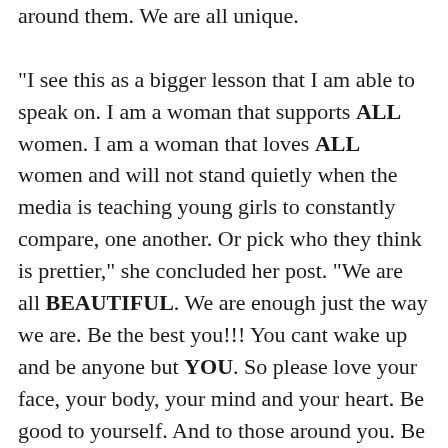around them. We are all unique. “I see this as a bigger lesson that I am able to speak on. I am a woman that supports ALL women. I am a woman that loves ALL women and will not stand quietly when the media is teaching young girls to constantly compare, one another. Or pick who they think is prettier,” she concluded her post. “We are all BEAUTIFUL. We are enough just the way we are. Be the best you!!! You cant wake up and be anyone but YOU. So please love your face, your body, your mind and your heart. Be good to yourself. And to those around you. Be sensitive with your words. Be kind with your words. You have no idea what they can do to someone. Alone ladies, we are strong. But TOGETHER?! US WOMEN can truly